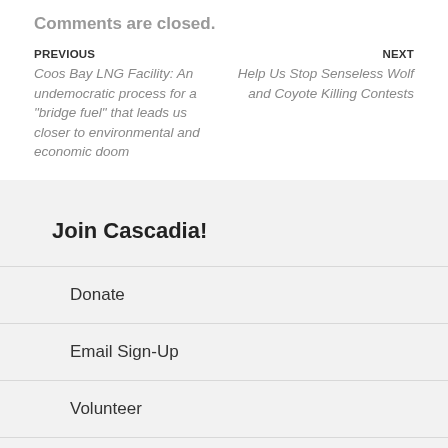Comments are closed.
PREVIOUS
Coos Bay LNG Facility: An undemocratic process for a "bridge fuel" that leads us closer to environmental and economic doom
NEXT
Help Us Stop Senseless Wolf and Coyote Killing Contests
Join Cascadia!
Donate
Email Sign-Up
Volunteer
Take Action